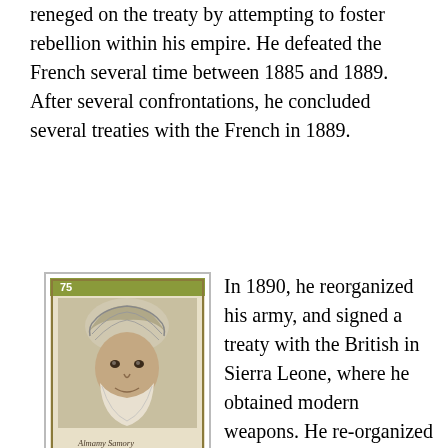reneged on the treaty by attempting to foster rebellion within his empire. He defeated the French several time between 1885 and 1889. After several confrontations, he concluded several treaties with the French in 1889.
[Figure (illustration): A postage stamp from the Republic of Guinea (Republique de Guinee) showing a portrait of a man wearing a turban, denominated 75, with handwritten-style text beneath the portrait reading 'Almamy Samory' and 'GUINEE' at the bottom.]
Stamp from the Republic of Guinea
In 1890, he reorganized his army, and signed a treaty with the British in Sierra Leone, where he obtained modern weapons. He re-organized his army so as to stress defense, and employed guerilla tactics.
In December 1891, French forces overran the major cities of the Mandinka empire, leaving death and desolation in their wake (sounds familiar? Côte